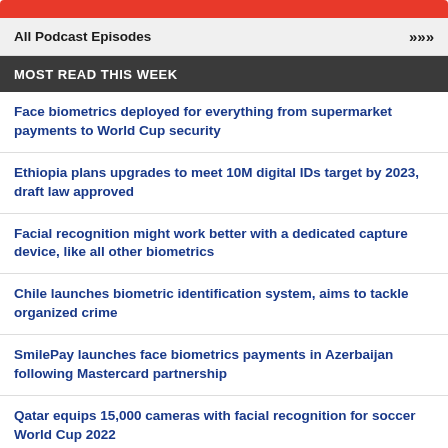All Podcast Episodes >>>
MOST READ THIS WEEK
Face biometrics deployed for everything from supermarket payments to World Cup security
Ethiopia plans upgrades to meet 10M digital IDs target by 2023, draft law approved
Facial recognition might work better with a dedicated capture device, like all other biometrics
Chile launches biometric identification system, aims to tackle organized crime
SmilePay launches face biometrics payments in Azerbaijan following Mastercard partnership
Qatar equips 15,000 cameras with facial recognition for soccer World Cup 2022
...